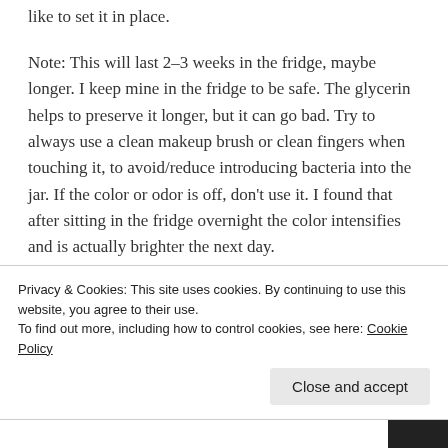like to set it in place.
Note: This will last 2–3 weeks in the fridge, maybe longer. I keep mine in the fridge to be safe. The glycerin helps to preserve it longer, but it can go bad. Try to always use a clean makeup brush or clean fingers when touching it, to avoid/reduce introducing bacteria into the jar. If the color or odor is off, don't use it. I found that after sitting in the fridge overnight the color intensifies and is actually brighter the next day.
As always, I'd love to hear how you like it if you give it a try, or your thoughts (or recommendations) on natural,
Privacy & Cookies: This site uses cookies. By continuing to use this website, you agree to their use.
To find out more, including how to control cookies, see here: Cookie Policy
Close and accept